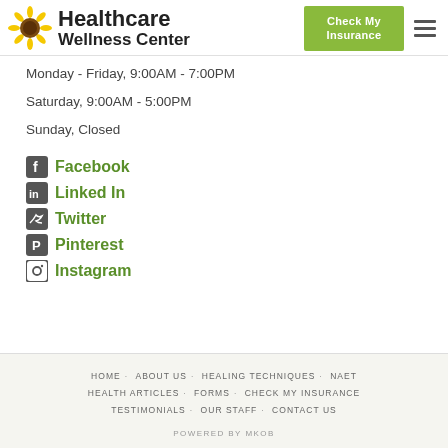Healthcare Wellness Center | Check My Insurance
Monday - Friday, 9:00AM - 7:00PM
Saturday, 9:00AM - 5:00PM
Sunday, Closed
Facebook
Linked In
Twitter
Pinterest
Instagram
HOME  ABOUT US  HEALING TECHNIQUES  NAET  HEALTH ARTICLES  FORMS  CHECK MY INSURANCE  TESTIMONIALS  OUR STAFF  CONTACT US
POWERED BY MKOB